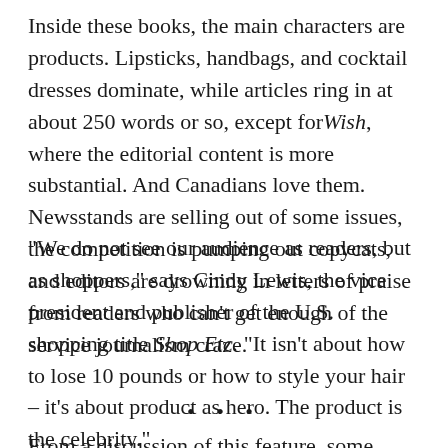Inside these books, the main characters are products. Lipsticks, handbags, and cocktail dresses dominate, while articles ring in at about 250 words or so, except for Wish, where the editorial content is more substantial. And Canadians love them. Newsstands are selling out of some issues, the competition is pumping out copycats, and editors are drowning in letters of praise from readers who can't get enough of the service journalism craze.
“We do not see our audience as readers, but as shoppers,” says Cindy Lewis, the vice president and publisher of the U.S. shopping title Shop Etc. “It isn’t about how to lose 10 pounds or how to style your hair – it’s about product as hero. The product is the celebrity.”
• • •
From a discussion of this feature, some readers have...